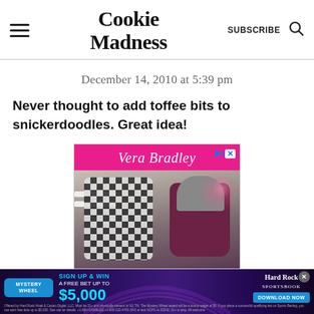Cookie Madness
December 14, 2010 at 5:39 pm
Never thought to add toffee bits to snickerdoodles. Great idea!
[Figure (photo): Vera Bradley advertisement banner showing bags on a bench with a pink brand header]
[Figure (infographic): Bottom sticky ad for Hard Rock Sportsbook Mystery Wheel promotion: Sign up & win a free bet up to $5,000. Download Now button.]